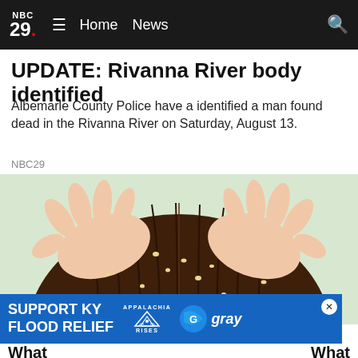NBC 29 ≡ Home News 🔍
UPDATE: Rivanna River body identified
Albemarle County Police have a identified a man found dead in the Rivanna River on Saturday, August 13.
NBC29
[Figure (illustration): Illustration of hands parting dark hair to inspect scalp, showing small white nits/lice along the hair strands.]
SUPPORT KY FLOOD RELIEF — APPALACHIA RISES — gray
What ... What